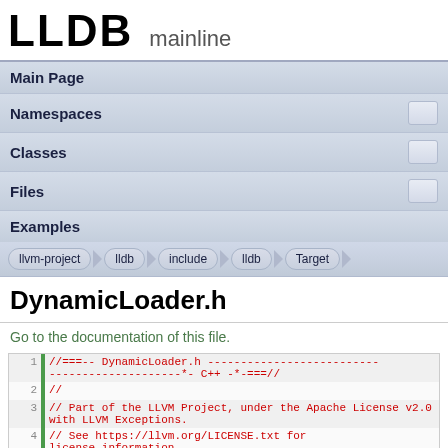LLDB mainline
Main Page
Namespaces
Classes
Files
Examples
llvm-project > lldb > include > lldb > Target
DynamicLoader.h
Go to the documentation of this file.
1 //===-- DynamicLoader.h ----------------------------*- C++ -*-===//
2 //
3 // Part of the LLVM Project, under the Apache License v2.0 with LLVM Exceptions.
4 // See https://llvm.org/LICENSE.txt for license information.